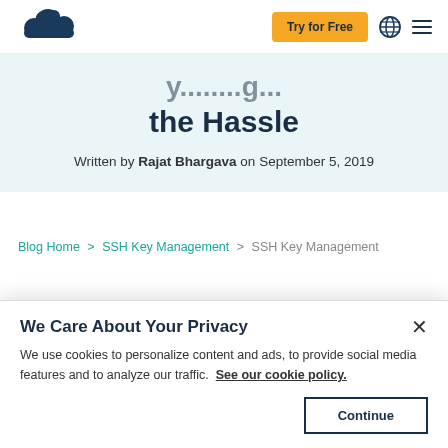[Figure (logo): SolarWinds cloud logo in dark navy blue]
Try for Free
the Hassle
Written by Rajat Bhargava on September 5, 2019
Blog Home > SSH Key Management > SSH Key Management
We Care About Your Privacy
We use cookies to personalize content and ads, to provide social media features and to analyze our traffic. See our cookie policy.
Continue